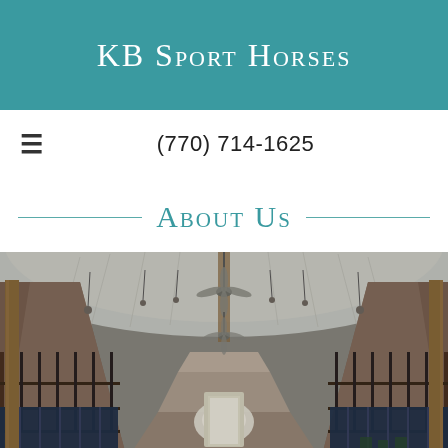KB Sport Horses
(770) 714-1625
About Us
[Figure (photo): Interior of a horse stable barn showing a long aisle with stalls on both sides, metal/pipe stall fronts with dark navy stall curtains, wooden support beams, white corrugated metal ceiling, ceiling fans hanging from the ridge, and light coming from the open door at the far end.]